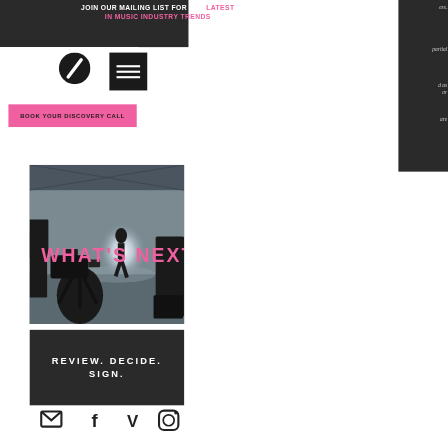JOIN OUR MAILING LIST FOR THE LATEST IN MUSIC INDUSTRY TRENDS
[Figure (logo): Round black circle logo with white diagonal slash]
[Figure (other): Black hamburger menu icon with three white horizontal lines]
BOOK YOUR DISCOVERY CALL
[Figure (photo): Black and white photo of a film/video shoot studio with a camera operator silhouette in foreground and a person walking in background bright light. Pink text overlay reads WHAT'S NEXT?]
REVIEW. DECIDE. SIGN.
[Figure (other): Footer social media icons: email, Facebook, Vimeo (V), Instagram]